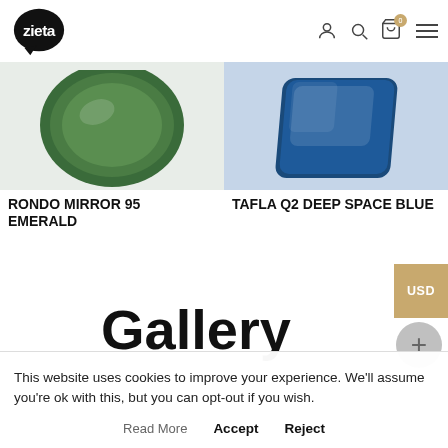zieta (logo) - navigation with user, search, cart, menu icons
[Figure (photo): Green circular mirror (Rondo Mirror 95 Emerald) shown from above on light background]
[Figure (photo): Deep space blue rectangular mirror (Tafla Q2 Deep Space Blue) shown at angle on blue-grey background]
RONDO MIRROR 95 EMERALD
TAFLA Q2 DEEP SPACE BLUE
Gallery
This website uses cookies to improve your experience. We'll assume you're ok with this, but you can opt-out if you wish.
Read More  Accept  Reject